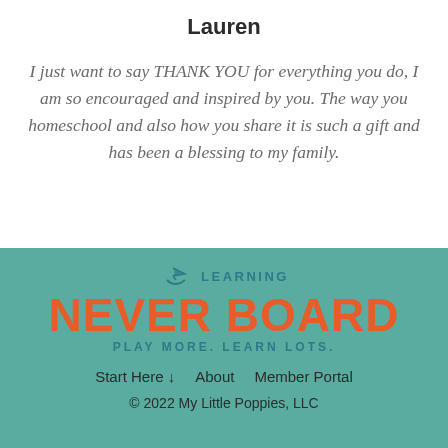Lauren
I just want to say THANK YOU for everything you do, I am so encouraged and inspired by you. The way you homeschool and also how you share it is such a gift and has been a blessing to my family.
[Figure (logo): Learning Never Board logo with paper airplane icon, orange large text 'NEVER BOARD', teal text 'LEARNING' above and 'PLAY MORE. LEARN LOTS.' below]
Start Here ↓    About    Member Portal
© 2022 My Little Poppies, LLC